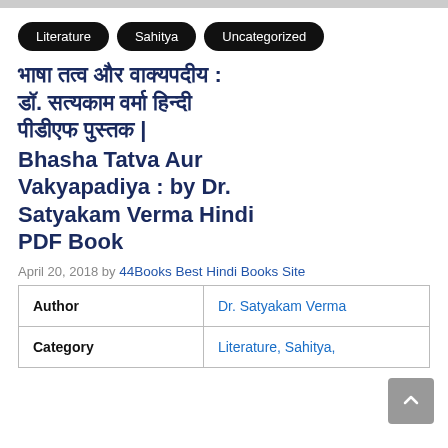Literature
Sahitya
Uncategorized
भाषा तत्व और वाक्यपदीय : डॉ. सत्यकाम वर्मा हिन्दी पीडीएफ पुस्तक | Bhasha Tatva Aur Vakyapadiya : by Dr. Satyakam Verma Hindi PDF Book
April 20, 2018 by 44Books Best Hindi Books Site
| Author |  |
| --- | --- |
| Author | Dr. Satyakam Verma |
| Category | Literature, Sahitya, |